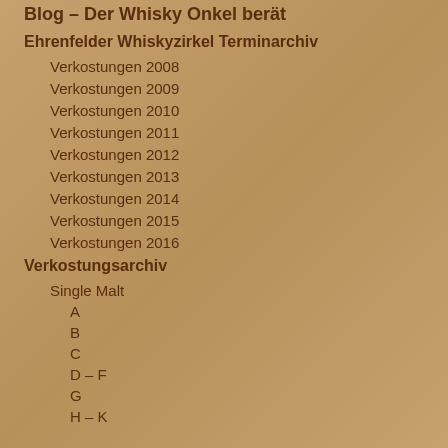Blog – Der Whisky Onkel berät
Ehrenfelder Whiskyzirkel Terminarchiv
Verkostungen 2008
Verkostungen 2009
Verkostungen 2010
Verkostungen 2011
Verkostungen 2012
Verkostungen 2013
Verkostungen 2014
Verkostungen 2015
Verkostungen 2016
Verkostungsarchiv
Single Malt
A
B
C
D – F
G
H – K